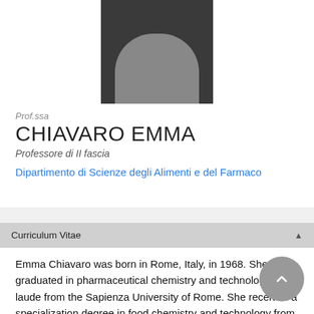[Figure (photo): Profile photo placeholder showing a silhouette on dark background]
Prof.ssa
CHIAVARO EMMA
Professore di II fascia
Dipartimento di Scienze degli Alimenti e del Farmaco
Curriculum Vitae
Emma Chiavaro was born in Rome, Italy, in 1968. She graduated in pharmaceutical chemistry and technology cum laude from the Sapienza University of Rome. She received a specialization degree in food chemistry and technology from the University of Parma in 1997 and a PhD in food of